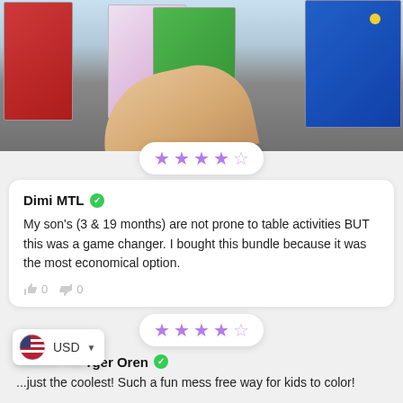[Figure (photo): Photo of colorful children's activity books with spiral binding, a hand reaching over them, on a dark surface]
[Figure (other): 4 out of 5 stars rating displayed in a rounded white pill with purple stars]
Dimi MTL ✓
My son's (3 & 19 months) are not prone to table activities BUT this was a game changer. I bought this bundle because it was the most economical option.
👍 0 👎 0
[Figure (other): 4 out of 5 stars rating displayed in a rounded white pill with purple stars]
Rachel Harger Oren ✓
...just the coolest! Such a fun mess free way for kids to color!
USD ▼ (currency selector overlay with US flag)